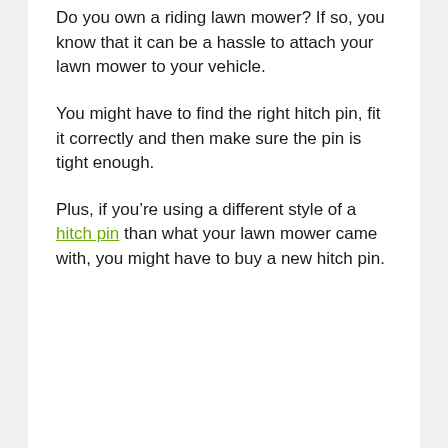Do you own a riding lawn mower? If so, you know that it can be a hassle to attach your lawn mower to your vehicle.
You might have to find the right hitch pin, fit it correctly and then make sure the pin is tight enough.
Plus, if you're using a different style of a hitch pin than what your lawn mower came with, you might have to buy a new hitch pin.